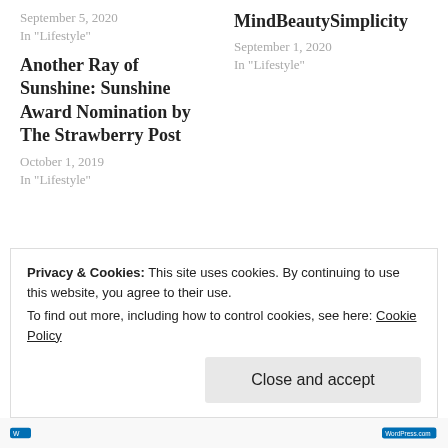September 5, 2020
In "Lifestyle"
MindBeautySimplicity
September 1, 2020
In "Lifestyle"
Another Ray of Sunshine: Sunshine Award Nomination by The Strawberry Post
October 1, 2019
In "Lifestyle"
#blogger
#chocoviv
#momlife
#mommyblogger
#motivation
#positivity
#recognition
#reviews
Privacy & Cookies: This site uses cookies. By continuing to use this website, you agree to their use.
To find out more, including how to control cookies, see here: Cookie Policy
Close and accept